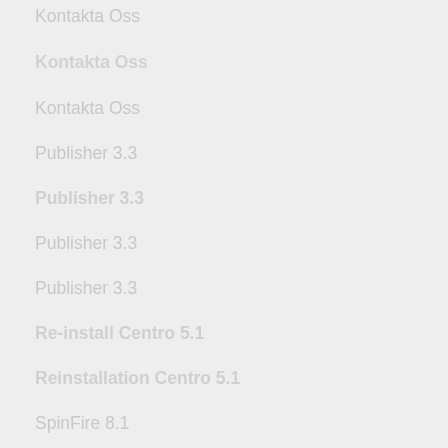Kontakta Oss
Kontakta Oss
Kontakta Oss
Publisher 3.3
Publisher 3.3
Publisher 3.3
Publisher 3.3
Re-install Centro 5.1
Reinstallation Centro 5.1
SpinFire 8.1
SpinFire 8.1
SpinFire 8.1
SpinFire 8.1
SpinFire 8.1
3.3
8.0  SpinFire
Current Customer Downloads